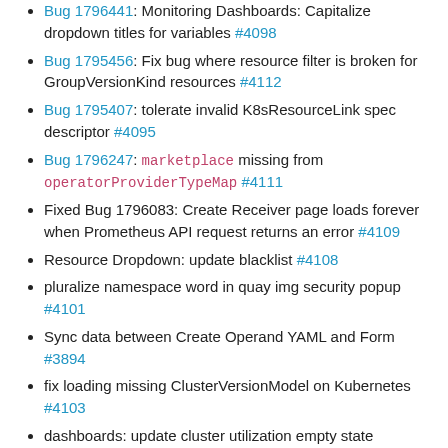Bug 1796441: Monitoring Dashboards: Capitalize dropdown titles for variables #4098
Bug 1795456: Fix bug where resource filter is broken for GroupVersionKind resources #4112
Bug 1795407: tolerate invalid K8sResourceLink spec descriptor #4095
Bug 1796247: marketplace missing from operatorProviderTypeMap #4111
Fixed Bug 1796083: Create Receiver page loads forever when Prometheus API request returns an error #4109
Resource Dropdown: update blacklist #4108
pluralize namespace word in quay img security popup #4101
Sync data between Create Operand YAML and Form #3894
fix loading missing ClusterVersionModel on Kubernetes #4103
dashboards: update cluster utilization empty state